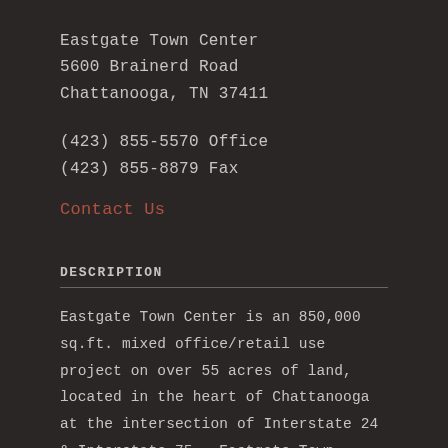Eastgate Town Center
5600 Brainerd Road
Chattanooga, TN 37411
(423) 855-5570 Office
(423) 855-8879 Fax
Contact Us
DESCRIPTION
Eastgate Town Center is an 850,000 sq.ft. mixed office/retail use project on over 55 acres of land, located in the heart of Chattanooga at the intersection of Interstate 24 & Interstate 75.  Eastgate Town Center recently completed an extensive remodeling to bring a modern "Downtown Streetscape" look and feel to the entire complex. Includes the advantages of modern interior common spaces with skylights, high ceilings and waterfall features as well as exterior entrances to tenant